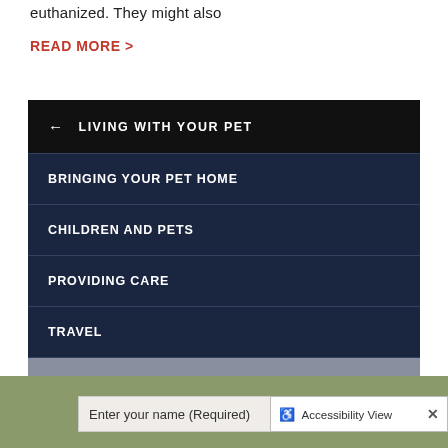euthanized. They might also
READ MORE >
← LIVING WITH YOUR PET
BRINGING YOUR PET HOME
CHILDREN AND PETS
PROVIDING CARE
TRAVEL
SAYING GOODBYE
Enter your name (Required)
Accessibility View ×